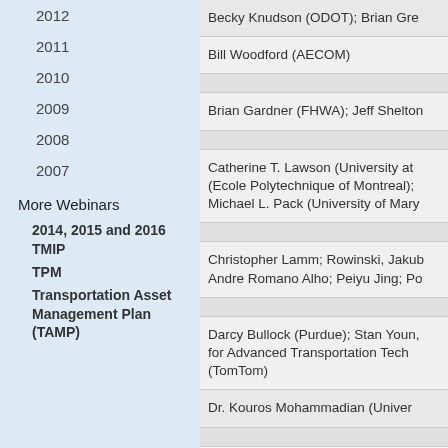2012
2011
2010
2009
2008
2007
More Webinars
2014, 2015 and 2016 TMIP
TPM
Transportation Asset Management Plan (TAMP)
| Becky Knudson (ODOT); Brian Gre… |
| Bill Woodford (AECOM) |
| Brian Gardner (FHWA); Jeff Shelton… |
| Catherine T. Lawson (University at… (Ecole Polytechnique of Montreal);… Michael L. Pack (University of Mary… |
| Christopher Lamm; Rowinski, Jakub… Andre Romano Alho; Peiyu Jing; Po… |
| Darcy Bullock (Purdue); Stan Youn;… for Advanced Transportation Tech… (TomTom) |
| Dr. Kouros Mohammadian (Univer… |
| Dr. Kristin Tufte (Portland State Un… |
| Dr. Michael Mahut (INRO Consulta… Texas at Austin) |